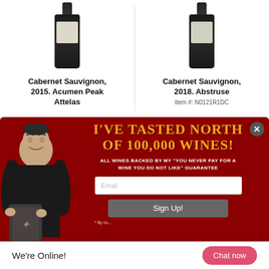[Figure (photo): Wine bottle with label - Cabernet Sauvignon 2015 Acumen Peak Attelas]
Cabernet Sauvignon, 2015. Acumen Peak Attelas
[Figure (photo): Wine bottle with label - Cabernet Sauvignon 2018 Abstruse]
Cabernet Sauvignon, 2018. Abstruse
Item #: N0121R1DC
[Figure (photo): Popup overlay with man holding wine box. Text reads: I'VE TASTED NORTH OF 100,000 WINES! ALL WINES BACKED BY MY "YOU NEVER PAY FOR A WINE YOU DO NOT LIKE" GUARANTEE. Email field. Sign Up! button. * By co... (truncated)]
We're Online!
Chat now